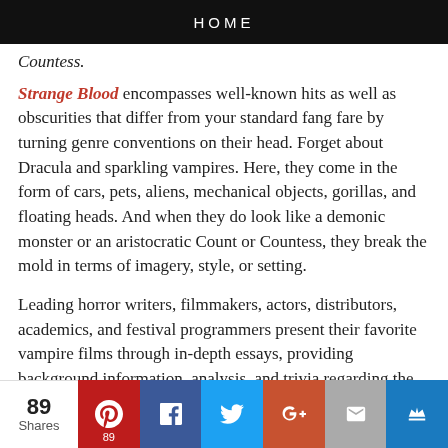HOME
Countess.
Strange Blood encompasses well-known hits as well as obscurities that differ from your standard fang fare by turning genre conventions on their head. Forget about Dracula and sparkling vampires. Here, they come in the form of cars, pets, aliens, mechanical objects, gorillas, and floating heads. And when they do look like a demonic monster or an aristocratic Count or Countess, they break the mold in terms of imagery, style, or setting.
Leading horror writers, filmmakers, actors, distributors, academics, and festival programmers present their favorite vampire films through in-depth essays, providing background information, analysis, and trivia regarding the various films. Some of these stories are hilarious, some are terrifying, some are touching, and some are just plain weird. Not all of these movies line up with the critical consensus, yet they have one thing in common: they
89 Shares